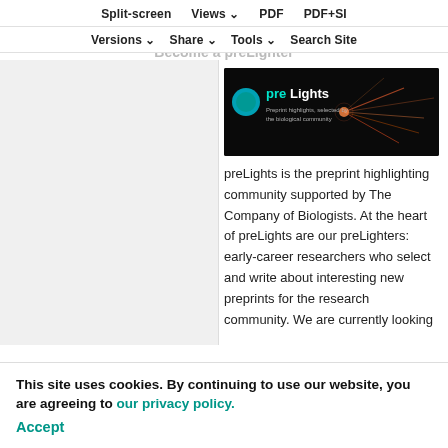Split-screen  Views  PDF  PDF+SI
Versions  Share  Tools  Search Site
[Figure (screenshot): preLights logo banner on dark background with neuron imagery. Text reads 'preLights - Preprint highlights, selected by the biological community']
preLights is the preprint highlighting community supported by The Company of Biologists. At the heart of preLights are our preLighters: early-career researchers who select and write about interesting new preprints for the research community. We are currently looking
This site uses cookies. By continuing to use our website, you are agreeing to our privacy policy. Accept